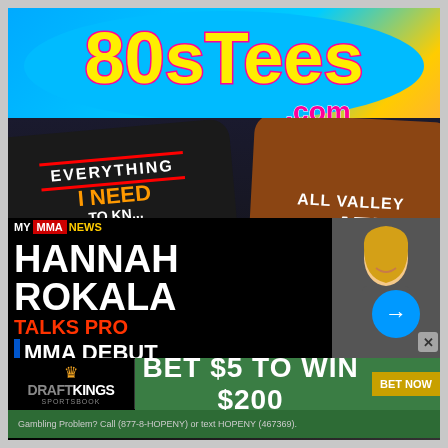[Figure (photo): 80sTees.com advertisement showing colorful logo with yellow text on pink/blue background and two t-shirts: a black shirt reading 'Everything I Need To Know I Learned Watching 80s' and a brown shirt reading 'All Valley Karate']
[Figure (photo): MyMMANews video thumbnail overlay showing 'Hannah Rokala Talks Pro MMA Debut' with a blonde woman visible on right side and a blue arrow navigation button]
[Figure (photo): DraftKings Sportsbook advertisement banner reading 'BET $5 TO WIN $200' with 'BET NOW' button and gambling disclaimer text]